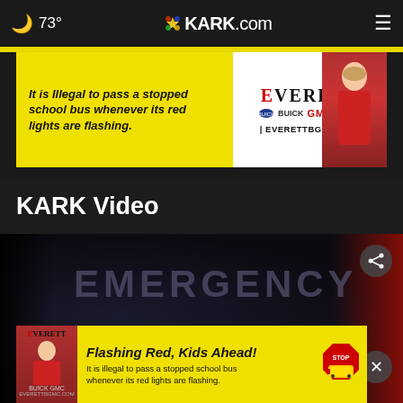🌙 73° | KARK.com | ≡
[Figure (screenshot): Everett Buick GMC advertisement banner: yellow background with italic bold text 'It is Illegal to pass a stopped school bus whenever its red lights are flashing.' and Everett Buick GMC logo with a woman in red jacket. EVERETTBGMC.COM]
KARK Video
[Figure (screenshot): Dark video thumbnail showing an emergency vehicle with 'EMERGENCY 911' text visible, with a share button and close button overlaid, and a red glow on the right side]
[Figure (screenshot): Everett Buick GMC bottom advertisement: yellow background with 'Flashing Red, Kids Ahead!' bold italic text, 'It is illegal to pass a stopped school bus whenever its red lights are flashing.' subtext, woman in red jacket on left, stop sign icon with school bus on right]